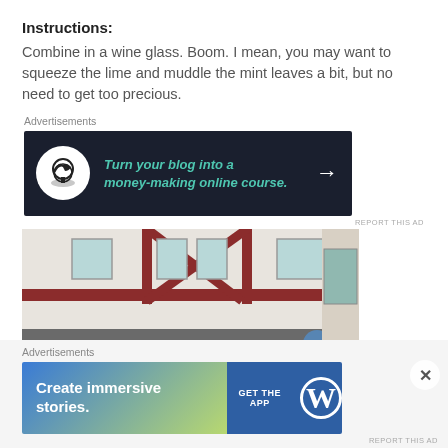Instructions:
Combine in a wine glass. Boom. I mean, you may want to squeeze the lime and muddle the mint leaves a bit, but no need to get too precious.
Advertisements
[Figure (screenshot): Dark navy advertisement banner: bonsai tree icon in white circle, teal italic text 'Turn your blog into a money-making online course.' with white arrow on right]
REPORT THIS AD
[Figure (photo): Photograph of a European-style half-timbered building exterior with red and white facade, awnings, wall lanterns, and storefronts]
Advertisements
[Figure (screenshot): WordPress advertisement banner with blue-green gradient left side saying 'Create immersive stories.' and dark blue right side with GET THE APP and WordPress logo]
REPORT THIS AD